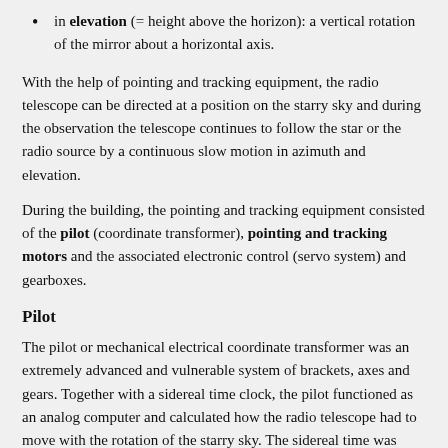in elevation (= height above the horizon): a vertical rotation of the mirror about a horizontal axis.
With the help of pointing and tracking equipment, the radio telescope can be directed at a position on the starry sky and during the observation the telescope continues to follow the star or the radio source by a continuous slow motion in azimuth and elevation.
During the building, the pointing and tracking equipment consisted of the pilot (coordinate transformer), pointing and tracking motors and the associated electronic control (servo system) and gearboxes.
Pilot
The pilot or mechanical electrical coordinate transformer was an extremely advanced and vulnerable system of brackets, axes and gears. Together with a sidereal time clock, the pilot functioned as an analog computer and calculated how the radio telescope had to move with the rotation of the starry sky. The sidereal time was calculated with very accurate